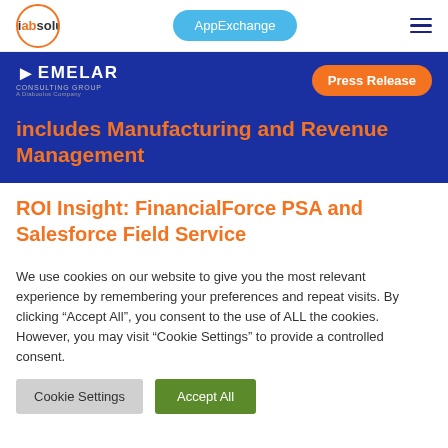Diabsolut | AppExchange
[Figure (logo): Emelar Consulting Group - A Diabsolut Company logo with Press Release button on blue banner]
includes Manufacturing and Revenue Management
ROI Insight: FinancialForce PSA and Salesforce Field Service
We use cookies on our website to give you the most relevant experience by remembering your preferences and repeat visits. By clicking "Accept All", you consent to the use of ALL the cookies. However, you may visit "Cookie Settings" to provide a controlled consent.
Cookie Settings | Accept All